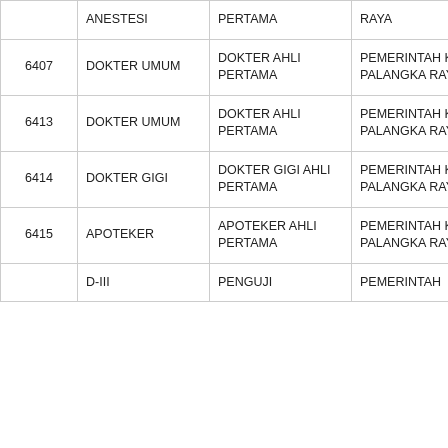|  | ANESTESI | PERTAMA | RAYA |
| 6407 | DOKTER UMUM | DOKTER AHLI PERTAMA | PEMERINTAH KOTA PALANGKA RAYA |
| 6413 | DOKTER UMUM | DOKTER AHLI PERTAMA | PEMERINTAH KOTA PALANGKA RAYA |
| 6414 | DOKTER GIGI | DOKTER GIGI AHLI PERTAMA | PEMERINTAH KOTA PALANGKA RAYA |
| 6415 | APOTEKER | APOTEKER AHLI PERTAMA | PEMERINTAH KOTA PALANGKA RAYA |
|  | D-III | PENGUJI | PEMERINTAH |